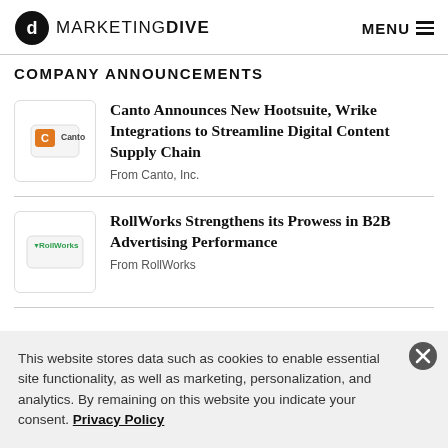MARKETING DIVE  MENU
COMPANY ANNOUNCEMENTS
Canto Announces New Hootsuite, Wrike Integrations to Streamline Digital Content Supply Chain
From Canto, Inc.
RollWorks Strengthens its Prowess in B2B Advertising Performance
From RollWorks
This website stores data such as cookies to enable essential site functionality, as well as marketing, personalization, and analytics. By remaining on this website you indicate your consent. Privacy Policy